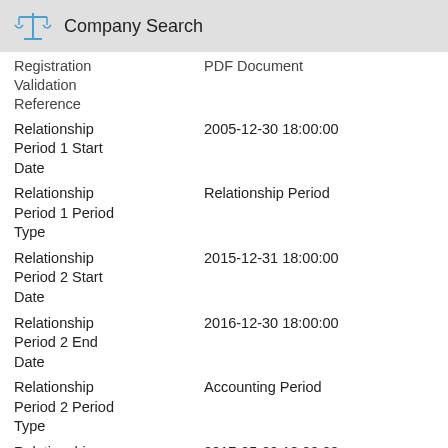Company Search
| Field | Value |
| --- | --- |
| Registration Validation Reference | PDF Document |
| Relationship Period 1 Start Date | 2005-12-30 18:00:00 |
| Relationship Period 1 Period Type | Relationship Period |
| Relationship Period 2 Start Date | 2015-12-31 18:00:00 |
| Relationship Period 2 End Date | 2016-12-30 18:00:00 |
| Relationship Period 2 Period Type | Accounting Period |
| Relationship Period 3 Start Date | 2017-05-29 18:00:00 |